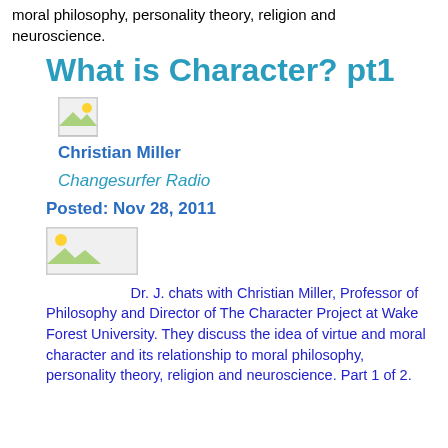moral philosophy, personality theory, religion and neuroscience.
What is Character? pt1
[Figure (other): Small broken/placeholder image icon]
Christian Miller
Changesurfer Radio
Posted: Nov 28, 2011
[Figure (other): Wider broken/placeholder image icon]
Dr. J. chats with Christian Miller, Professor of Philosophy and Director of The Character Project at Wake Forest University. They discuss the idea of virtue and moral character and its relationship to moral philosophy, personality theory, religion and neuroscience. Part 1 of 2.